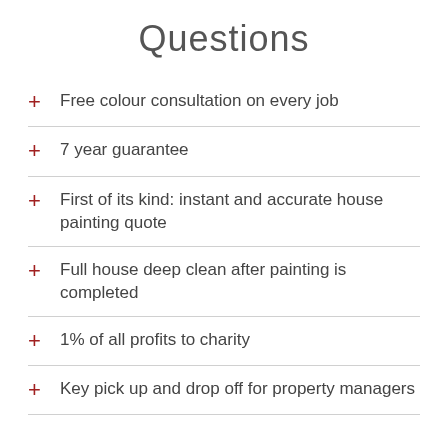Questions
Free colour consultation on every job
7 year guarantee
First of its kind: instant and accurate house painting quote
Full house deep clean after painting is completed
1% of all profits to charity
Key pick up and drop off for property managers